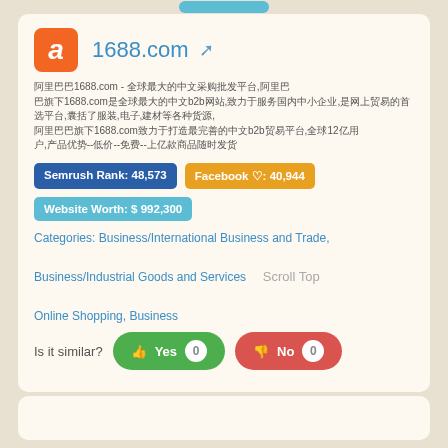1688.com
阿里巴巴1688.com - 全球最大的中文采购批发平台,阿里巴巴旗下1688.com是全球最大的中文b2b网站,致力于服务国内中小企业,是网上贸易的首选平台,囊括了服装,电子,建材等各种货源,阿里巴巴1688.com致力于打造最完善的中文b2b贸易平台,全球12亿用户,产品优势--低价--免费--上亿款商品随时发货
Semrush Rank: 48,573   Facebook ♡: 40,944   Website Worth: $ 992,300
Categories: Business/International Business and Trade, Business/Industrial Goods and Services, Online Shopping, Business
Is it similar? Yes 0  No 0